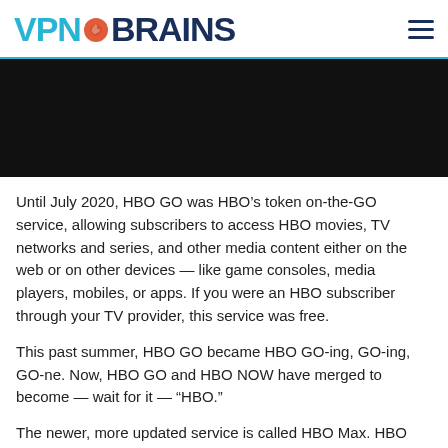VPN BRAINS
[Figure (photo): Black hero image banner]
Until July 2020, HBO GO was HBO’s token on-the-GO service, allowing subscribers to access HBO movies, TV networks and series, and other media content either on the web or on other devices — like game consoles, media players, mobiles, or apps. If you were an HBO subscriber through your TV provider, this service was free.
This past summer, HBO GO became HBO GO-ing, GO-ing, GO-ne. Now, HBO GO and HBO NOW have merged to become — wait for it — “HBO.”
The newer, more updated service is called HBO Max. HBO Max, which emerged in May 2020, lets you stream all of